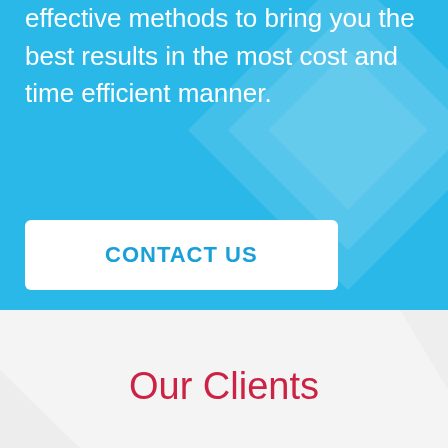effective methods to bring you the best results in the most cost and time efficient manner.
[Figure (illustration): Decorative diamond/chevron geometric shapes on blue background]
CONTACT US
Our Clients